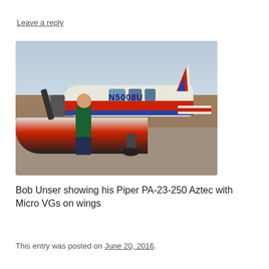Leave a reply
[Figure (photo): Bob Unser standing next to his Piper PA-23-250 Aztec airplane (registration N5008U) with red and blue stripes, parked on a tarmac. The plane's wing with Micro VGs is visible in the foreground.]
Bob Unser showing his Piper PA-23-250 Aztec with Micro VGs on wings
This entry was posted on June 20, 2016.